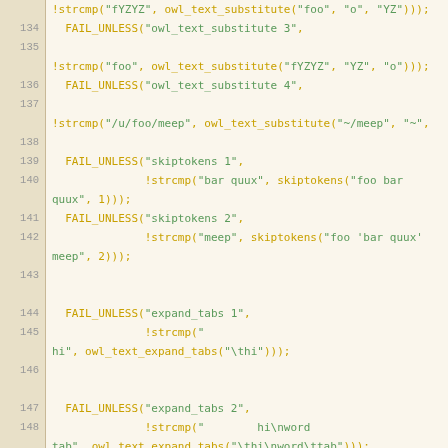[Figure (screenshot): Source code listing showing C unit test code with line numbers 133-157, featuring FAIL_UNLESS test assertions for owl_text_substitute, skiptokens, and owl_text_expand_tabs functions. Line numbers are in a left gutter, code uses monospace font with string literals in green and function names in amber/gold on a cream/beige background.]